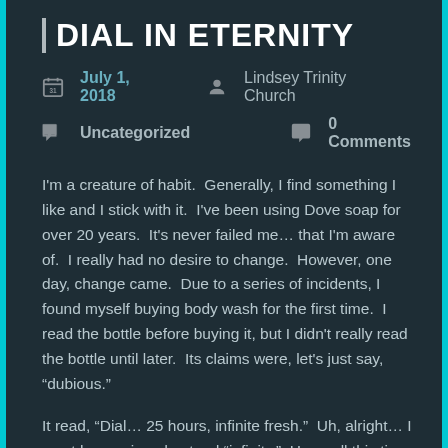DIAL IN ETERNITY
July 1, 2018   Lindsey Trinity Church
Uncategorized   0 Comments
I'm a creature of habit.  Generally, I find something I like and I stick with it.  I've been using Dove soap for over 20 years.  It's never failed me... that I'm aware of.  I really had no desire to change.  However, one day, change came.  Due to a series of incidents, I found myself buying body wash for the first time.  I read the bottle before buying it, but I didn't really read the bottle until later.  Its claims were, let's just say, “dubious.”
It read, “Dial… 25 hours, infinite fresh.”  Uh, alright… I must have misunderstood “infinity.”  Here, all this time I